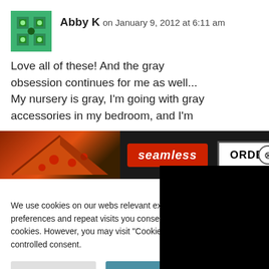Abby K on January 9, 2012 at 6:11 am
Love all of these! And the gray obsession continues for me as well... My nursery is gray, I'm going with gray accessories in my bedroom, and I'm
[Figure (screenshot): Seamless food delivery advertisement banner showing pizza and ORDER button]
sometime this ye
[Figure (screenshot): Black video overlay panel]
We use cookies on our webs relevant experience by reme preferences and repeat visits you consent to the use of ALL the cookies. However, you may visit "Cookie Settings" to provide a controlled consent.
Cookie Settings
Accept All